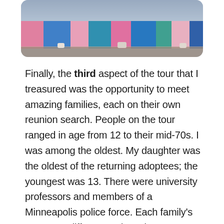[Figure (photo): Partial photo showing lower portions of people in colorful formal dresses (pink, blue, teal) standing on a tiled floor, cropped at top of page.]
Finally, the third aspect of the tour that I treasured was the opportunity to meet amazing families, each on their own reunion search. People on the tour ranged in age from 12 to their mid-70s. I was among the oldest. My daughter was the oldest of the returning adoptees; the youngest was 13. There were university professors and members of a Minneapolis police force. Each family's story was different and yet the same. We all were searching for answers and we all had a strong desire to know more about...